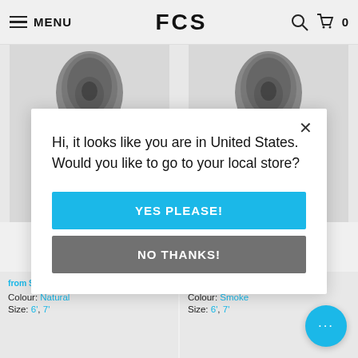MENU | FCS | Search | Cart 0
[Figure (photo): Two surfboard fin product images shown side by side, partially cropped, dark grey color on light grey background]
Hi, it looks like you are in United States. Would you like to go to your local store?
YES PLEASE!
NO THANKS!
from $74.99 AUD
from $74.99 AUD
Colour: Natural
Size: 6', 7'
Colour: Smoke
Size: 6', 7'